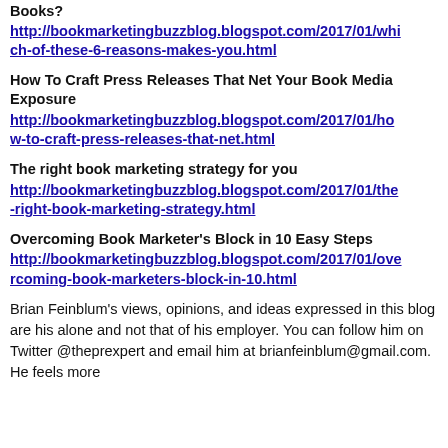Books? http://bookmarketingbuzzblog.blogspot.com/2017/01/which-of-these-6-reasons-makes-you.html
How To Craft Press Releases That Net Your Book Media Exposure http://bookmarketingbuzzblog.blogspot.com/2017/01/how-to-craft-press-releases-that-net.html
The right book marketing strategy for you http://bookmarketingbuzzblog.blogspot.com/2017/01/the-right-book-marketing-strategy.html
Overcoming Book Marketer's Block in 10 Easy Steps http://bookmarketingbuzzblog.blogspot.com/2017/01/overcoming-book-marketers-block-in-10.html
Brian Feinblum's views, opinions, and ideas expressed in this blog are his alone and not that of his employer. You can follow him on Twitter @theprexpert and email him at brianfeinblum@gmail.com. He feels more